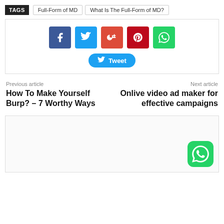TAGS  Full-Form of MD  What Is The Full-Form of MD?
[Figure (infographic): Social media share buttons: Facebook (blue), Twitter (light blue), Google+ (red-orange), Pinterest (dark red), WhatsApp (green), and a Tweet button below.]
Previous article
How To Make Yourself Burp? – 7 Worthy Ways
Next article
Onlive video ad maker for effective campaigns
[Figure (infographic): Bottom content box with WhatsApp icon in bottom-right corner.]